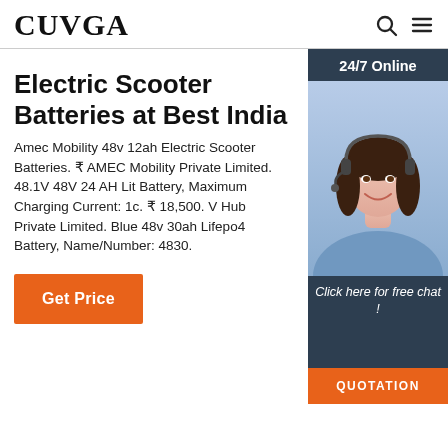CUVGA
Electric Scooter Batteries at Best India
Amec Mobility 48v 12ah Electric Scooter Batteries. ₹ AMEC Mobility Private Limited. 48.1V 48V 24 AH Lit Battery, Maximum Charging Current: 1c. ₹ 18,500. V Hub Private Limited. Blue 48v 30ah Lifepo4 Battery, Name/Number: 4830.
[Figure (photo): Customer support agent woman with headset, smiling, with 24/7 Online badge and Click here for free chat text and QUOTATION button]
Get Price